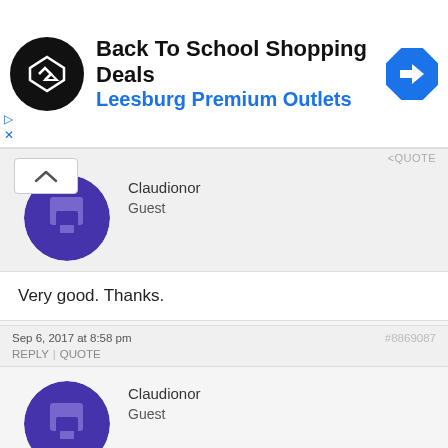[Figure (screenshot): Ad banner for Back To School Shopping Deals at Leesburg Premium Outlets with black circular logo with diamond arrows icon and blue diamond navigation arrow]
Very good. Thanks.
Sep 6, 2017 at 8:58 pm
#8869087
REPLY | QUOTE
Claudionor
Guest
thanks. very good.
Sep 12, 2017 at 11:14 am